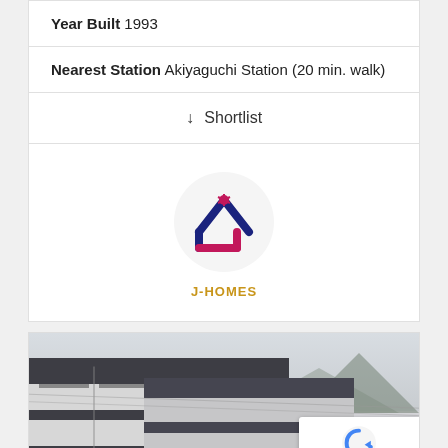Year Built 1993
Nearest Station Akiyaguchi Station (20 min. walk)
↓ Shortlist
[Figure (logo): J-HOMES logo: a house icon made of dark blue lines forming a roof/arrow shape with a magenta/pink lower portion, inside a light gray circle. Below the circle the text J-HOMES in orange.]
[Figure (photo): Exterior photograph of a multi-story apartment building with dark gray/charcoal facade and white horizontal stripe sections, balconies visible, set against a pale overcast sky with mountains in the background. A reCAPTCHA badge appears in the lower right corner with Privacy and Terms text.]